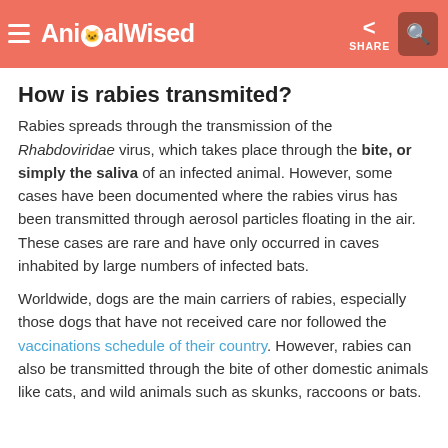AnimalWised — SHARE
How is rabies transmited?
Rabies spreads through the transmission of the Rhabdoviridae virus, which takes place through the bite, or simply the saliva of an infected animal. However, some cases have been documented where the rabies virus has been transmitted through aerosol particles floating in the air. These cases are rare and have only occurred in caves inhabited by large numbers of infected bats.
Worldwide, dogs are the main carriers of rabies, especially those dogs that have not received care nor followed the vaccinations schedule of their country. However, rabies can also be transmitted through the bite of other domestic animals like cats, and wild animals such as skunks, raccoons or bats.